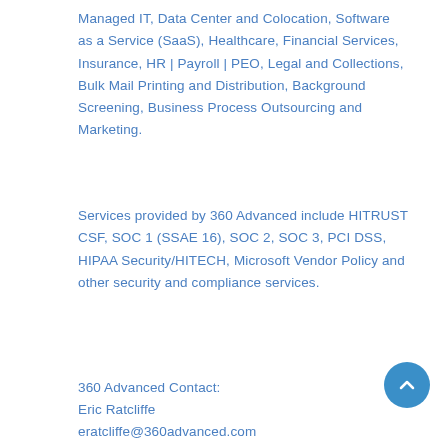Managed IT, Data Center and Colocation, Software as a Service (SaaS), Healthcare, Financial Services, Insurance, HR | Payroll | PEO, Legal and Collections, Bulk Mail Printing and Distribution, Background Screening, Business Process Outsourcing and Marketing.
Services provided by 360 Advanced include HITRUST CSF, SOC 1 (SSAE 16), SOC 2, SOC 3, PCI DSS, HIPAA Security/HITECH, Microsoft Vendor Policy and other security and compliance services.
360 Advanced Contact:
Eric Ratcliffe
eratcliffe@360advanced.com